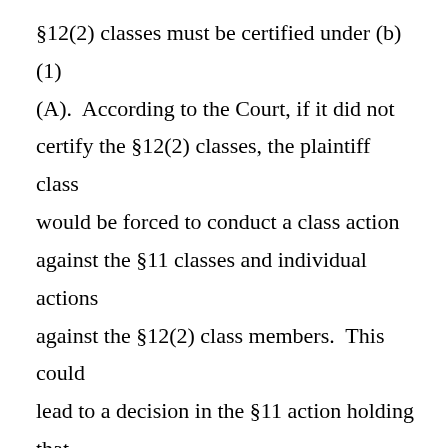§12(2) classes must be certified under (b)(1)(A).  According to the Court, if it did not certify the §12(2) classes, the plaintiff class would be forced to conduct a class action against the §11 classes and individual actions against the §12(2) class members.  This could lead to a decision in the §11 action holding that the financial statements were materially misleading and decisions in the §12 actions holding that they were not.  As a result, the plaintiff class would have inconsistent adjudications as to the same defendants on the